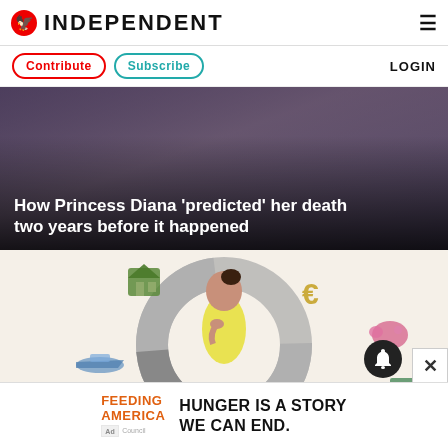INDEPENDENT
Contribute | Subscribe | LOGIN
[Figure (photo): Hero image of a woman with text overlay about Princess Diana article]
How Princess Diana ‘predicted’ her death two years before it happened
[Figure (illustration): Woman in yellow outfit inside a circular frame with financial icons (house, euro sign, piggy bank, airplane) floating around her on a beige background]
[Figure (photo): Feeding America advertisement banner: HUNGER IS A STORY WE CAN END.]